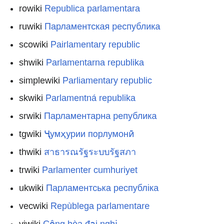rowiki Republica parlamentara
ruwiki Парламентская республика
scowiki Pairlamentary republic
shwiki Parlamentarna republika
simplewiki Parliamentary republic
skwiki Parlamentná republika
srwiki Парламентарна република
tgwiki Ҷумҳурии порлумонӣ
thwiki สาธารณรัฐระบบรัฐสภา
trwiki Parlamenter cumhuriyet
ukwiki Парламентська республіка
vecwiki Repùblega parlamentare
viwiki Cộng hòa đại nghị
wuuwiki 议会制共和国
xmfwiki საპარლამენტო რესპუბლიკა
zhwiki 议会制共和国